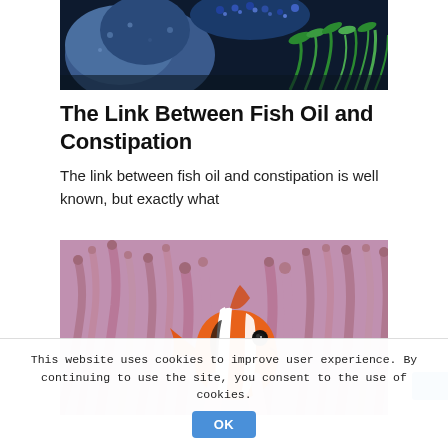[Figure (photo): Underwater photo of colorful coral reef with blue and green elements against a dark background]
The Link Between Fish Oil and Constipation
The link between fish oil and constipation is well known, but exactly what
[Figure (photo): Close-up photo of a clownfish (orange with white stripes) among pink/purple sea anemone tentacles]
This website uses cookies to improve user experience. By continuing to use the site, you consent to the use of cookies.